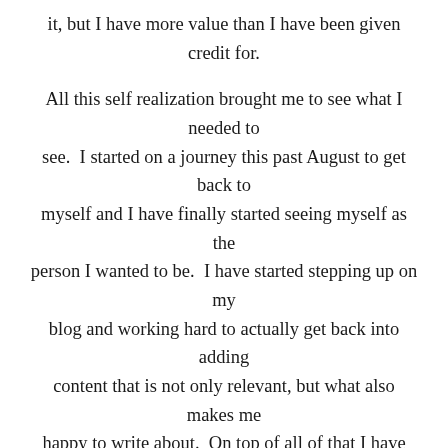it, but I have more value than I have been given credit for.
All this self realization brought me to see what I needed to see. I started on a journey this past August to get back to myself and I have finally started seeing myself as the person I wanted to be. I have started stepping up on my blog and working hard to actually get back into adding content that is not only relevant, but what also makes me happy to write about. On top of all of that I have been actively been working on the Blogs Gift and Resale store! My confidence is finally returning! This has also helped me with my main job as well by having more confidence.
This self realization and confidence have taught me a lot about my personal life. The biggest thing is I do not need to have the approval of my partner to be happy. WHAT!!!